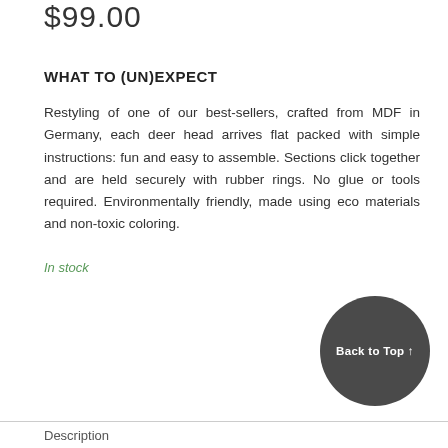$99.00
WHAT TO (UN)EXPECT
Restyling of one of our best-sellers, crafted from MDF in Germany, each deer head arrives flat packed with simple instructions: fun and easy to assemble. Sections click together and are held securely with rubber rings. No glue or tools required. Environmentally friendly, made using eco materials and non-toxic coloring.
In stock
- 1 +
Add to Cart
Back to Top ↑
Description